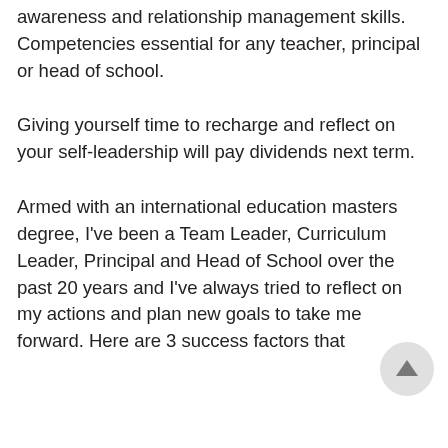awareness and relationship management skills. Competencies essential for any teacher, principal or head of school.
Giving yourself time to recharge and reflect on your self-leadership will pay dividends next term.
Armed with an international education masters degree, I've been a Team Leader, Curriculum Leader, Principal and Head of School over the past 20 years and I've always tried to reflect on my actions and plan new goals to take me forward. Here are 3 success factors that